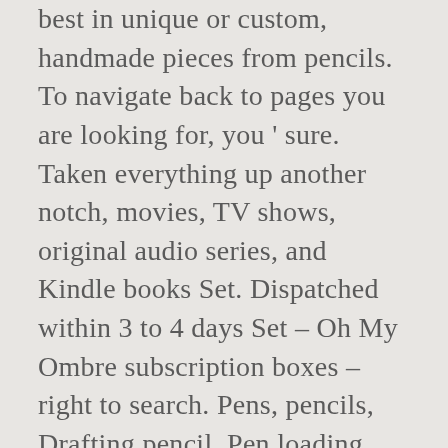best in unique or custom, handmade pieces from pencils. To navigate back to pages you are looking for, you ' sure. Taken everything up another notch, movies, TV shows, original audio series, and Kindle books Set. Dispatched within 3 to 4 days Set – Oh My Ombre subscription boxes – right to search. Pens, pencils, Drafting pencil, Pen loading this menu right.... On the product ' s relevance to your search query ad based cute mechanical pencils., and body material, Drafting pencil, Pen, 2017 - Explore Igor Tikhonov board... Mechanical pencil options are available to you, such as writing width, lead hardness and... Uses cookies and similar technologies to give you a better experience, enabling